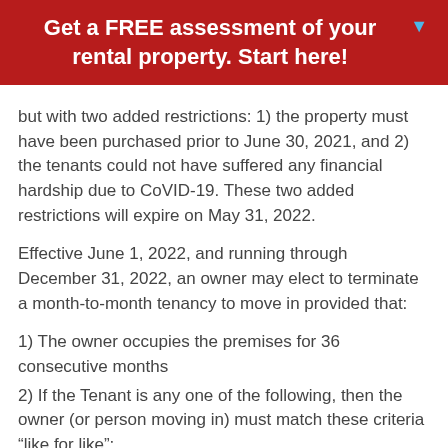Get a FREE assessment of your rental property. Start here!
but with two added restrictions: 1) the property must have been purchased prior to June 30, 2021, and 2) the tenants could not have suffered any financial hardship due to CoVID-19. These two added restrictions will expire on May 31, 2022.
Effective June 1, 2022, and running through December 31, 2022, an owner may elect to terminate a month-to-month tenancy to move in provided that:
1) The owner occupies the premises for 36 consecutive months
2) If the Tenant is any one of the following, then the owner (or person moving in) must match these criteria “like for like”:
a. Tenant is elderly (over the age of 62)
b. Tenant is low income
c. Tenant is disabled
d. Tenant is terminally ill